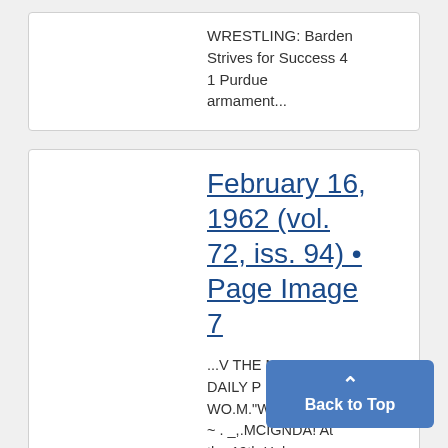WRESTLING: Barden Strives for Success 4 1 Purdue armament...
February 16, 1962 (vol. 72, iss. 94) • Page Image 7
...V THE MICHIGAN DAILY P WO.M."Www" J ~ ~ ~ ~ . _,.MCIGNDA! At the 19th Hol Fred Steinha
Back to Top